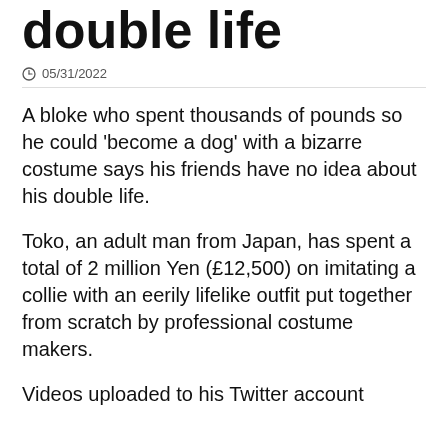double life
05/31/2022
A bloke who spent thousands of pounds so he could 'become a dog' with a bizarre costume says his friends have no idea about his double life.
Toko, an adult man from Japan, has spent a total of 2 million Yen (£12,500) on imitating a collie with an eerily lifelike outfit put together from scratch by professional costume makers.
Videos uploaded to his Twitter account